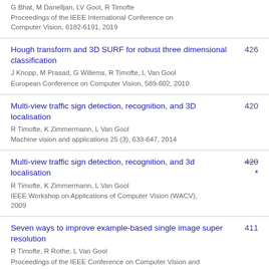G Bhat, M Danelljan, LV Gool, R Timofte
Proceedings of the IEEE International Conference on Computer Vision, 6182-6191, 2019
Hough transform and 3D SURF for robust three dimensional classification
J Knopp, M Prasad, G Willems, R Timofte, L Van Gool
European Conference on Computer Vision, 589-602, 2010
426
Multi-view traffic sign detection, recognition, and 3D localisation
R Timofte, K Zimmermann, L Van Gool
Machine vision and applications 25 (3), 633-647, 2014
420
Multi-view traffic sign detection, recognition, and 3d localisation
R Timofte, K Zimmermann, L Van Gool
IEEE Workshop on Applications of Computer Vision (WACV), 2009
420 *
Seven ways to improve example-based single image super resolution
R Timofte, R Rothe, L Van Gool
Proceedings of the IEEE Conference on Computer Vision and
411